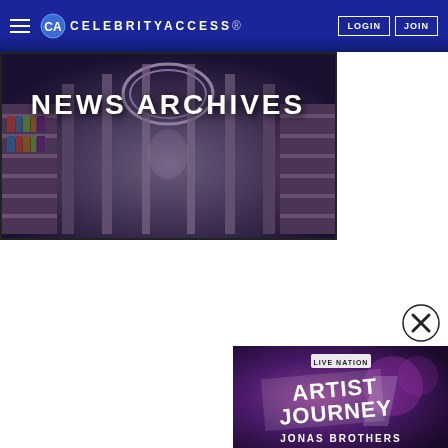CELEBRITYACCESS® — LOGIN | JOIN
[Figure (photo): News Archives banner image showing a grand library hall with arched ceilings and bookshelves, overlaid with the text 'NEWS ARCHIVES' in white capital letters]
[Figure (photo): Advertisement popup for Live Nation 'Artist Journey - Jonas Brothers' featuring purple background with stylized text]
[Figure (other): Close (X) button circle for dismissing the advertisement popup]